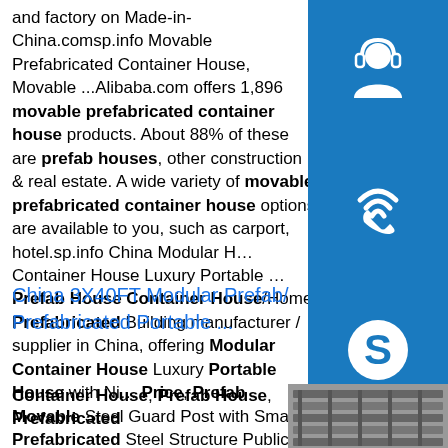and factory on Made-in-China.comsp.info Movable Prefabricated Container House, Movable ...Alibaba.com offers 1,896 movable prefabricated container house products. About 88% of these are prefab houses, other construction & real estate. A wide variety of movable prefabricated container house options are available to you, such as carport, hotel.sp.info China Modular House, Container House Luxury Portable ...Prefab House Container House/Home, Prefabricated Building manufacturer / supplier in China, offering Modular Container House Luxury Portable House with Nice Price, Prefab Movable Steel Guard Post with Small Prefabricated Steel Structure Public Container Toilet/ Restroom/ Washroom and so on.
[Figure (infographic): Three blue square buttons stacked vertically on the right side: top button has a headset/support icon, middle button has a phone/wifi call icon, bottom button has Skype 'S' logo icon.]
China 3X40FT Modular Prefab/ Prefabricated Portable ...
Container House, Prefab House, Prefabricated
[Figure (photo): Photo of metal structural profiles/channels stacked together, grey metallic color.]